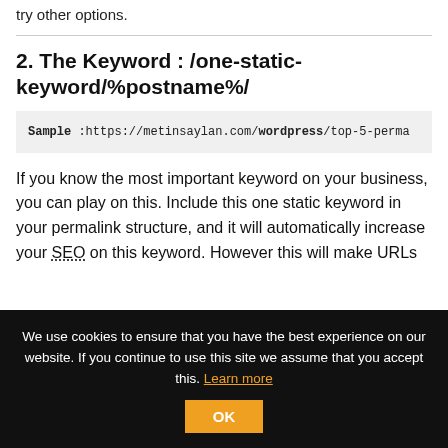try other options.
2. The Keyword : /one-static-keyword/%postname%/
Sample :https://metinsaylan.com/wordpress/top-5-perma
If you know the most important keyword on your business, you can play on this. Include this one static keyword in your permalink structure, and it will automatically increase your SEO on this keyword. However this will make URLs
We use cookies to ensure that you have the best experience on our website. If you continue to use this site we assume that you accept this. Learn more OK